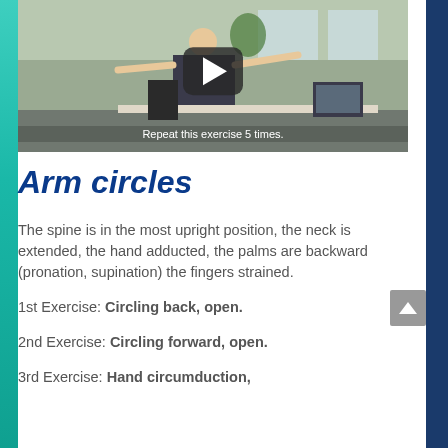[Figure (screenshot): Video player screenshot showing a woman doing arm exercises in an office setting, with a large play button overlay and subtitle 'Repeat this exercise 5 times.']
Arm circles
The spine is in the most upright position, the neck is extended, the hand adducted, the palms are backward (pronation, supination) the fingers strained.
1st Exercise: Circling back, open.
2nd Exercise: Circling forward, open.
3rd Exercise: Hand circumduction,